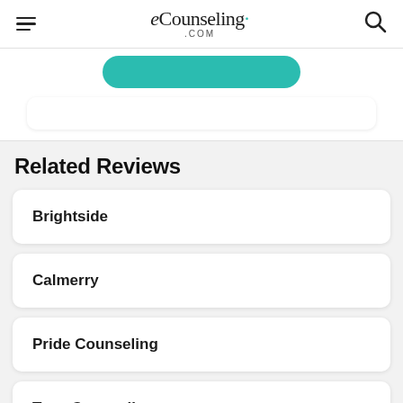eCounseling.com
Related Reviews
Brightside
Calmerry
Pride Counseling
Teen Counseling